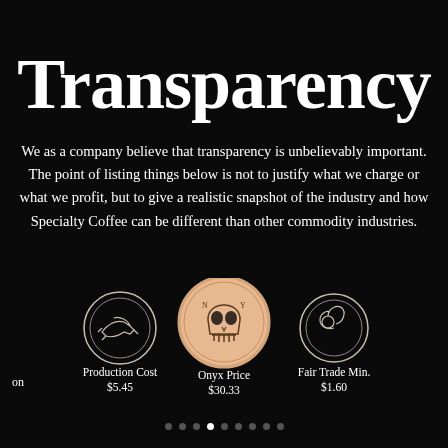Transparency
We as a company believe that transparency is unbelievably important. The point of listing things below is not to justify what we charge or what we profit, but to give a realistic snapshot of the industry and how Specialty Coffee can be different than other commodity industries.
[Figure (illustration): Three icons in a row: a handshake icon in a circle, a skull coin logo (Onyx brand), and a fair trade icon in a circle. Labels and prices below each: Production Cost $5.45, Onyx Price $30.33, Fair Trade Min. $1.60]
Navigation dots (page 4 of 9 active)